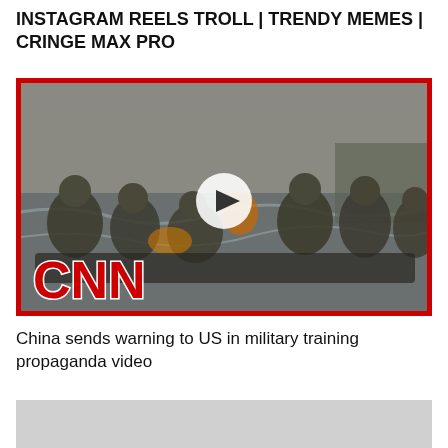INSTAGRAM REELS TROLL | TRENDY MEMES | CRINGE MAX PRO
[Figure (screenshot): CNN video thumbnail showing military soldiers in a boat on water during training exercise, with CNN logo overlay and a play button in the center. Red border frame around the image.]
China sends warning to US in military training propaganda video
[Figure (photo): Partially visible second thumbnail image, appears grey/light colored, cut off at bottom of page.]